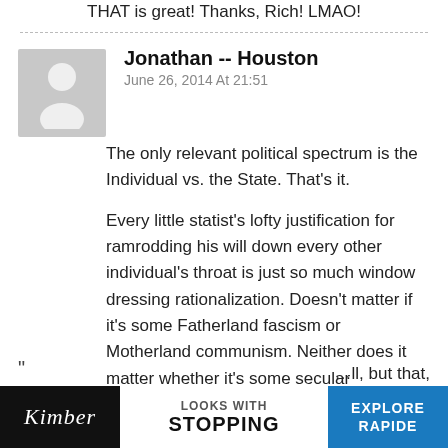THAT is great! Thanks, Rich! LMAO!
Jonathan -- Houston
June 26, 2014 At 21:51
The only relevant political spectrum is the Individual vs. the State. That's it.
Every little statist's lofty justification for ramrodding his will down every other individual's throat is just so much window dressing rationalization. Doesn't matter if it's some Fatherland fascism or Motherland communism. Neither does it matter whether it's some secular dictatorship or religious authoritarianism. It's all the same, stale acrid assault on liberty. People can quibble over
[Figure (photo): Advertisement banner at bottom: Kimber brand ad with 'LOOKS WITH STOPPING' text and 'EXPLORE' button on blue background]